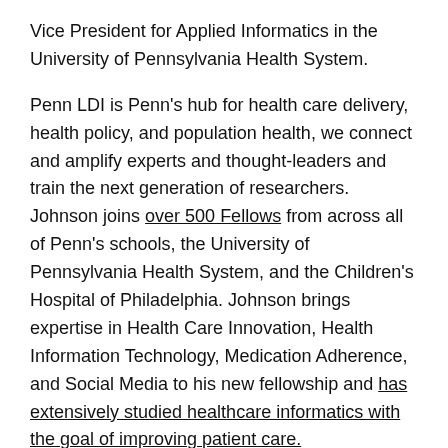Vice President for Applied Informatics in the University of Pennsylvania Health System.
Penn LDI is Penn's hub for health care delivery, health policy, and population health, we connect and amplify experts and thought-leaders and train the next generation of researchers. Johnson joins over 500 Fellows from across all of Penn's schools, the University of Pennsylvania Health System, and the Children's Hospital of Philadelphia. Johnson brings expertise in Health Care Innovation, Health Information Technology, Medication Adherence, and Social Media to his new fellowship and has extensively studied healthcare informatics with the goal of improving patient care.
Learn more about Penn LDI on their website.
Learn more about Johnson's research on his personal